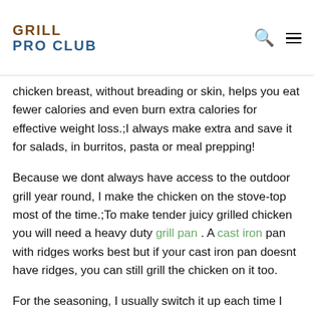GRILL PRO CLUB
chicken breast, without breading or skin, helps you eat fewer calories and even burn extra calories for effective weight loss.;I always make extra and save it for salads, in burritos, pasta or meal prepping!
Because we dont always have access to the outdoor grill year round, I make the chicken on the stove-top most of the time.;To make tender juicy grilled chicken you will need a heavy duty grill pan . A cast iron pan with ridges works best but if your cast iron pan doesnt have ridges, you can still grill the chicken on it too.
For the seasoning, I usually switch it up each time I make the